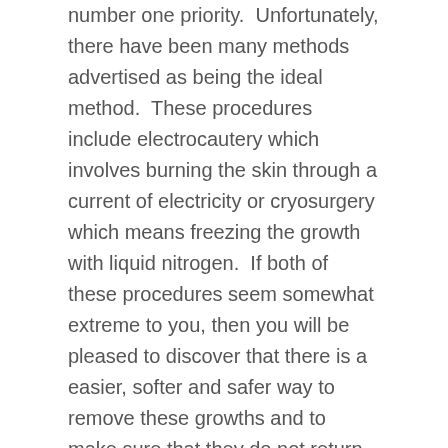number one priority.  Unfortunately, there have been many methods advertised as being the ideal method.  These procedures include electrocautery which involves burning the skin through a current of electricity or cryosurgery which means freezing the growth with liquid nitrogen.  If both of these procedures seem somewhat extreme to you, then you will be pleased to discover that there is a easier, softer and safer way to remove these growths and to make sure that they do not return.
There is a medically approved cream that has been used seccessfully around the globe, by medical practioners for the last 30 years.  This cream has been designed to completely remove your skin blemishes, which makes it the only cream of its kind.  Unlike its closest competitors, this cream has been designed to